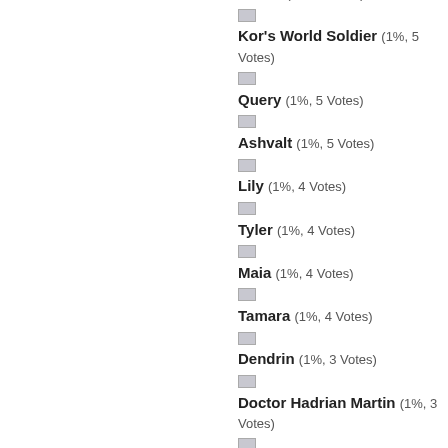Acalia (1%, 5 Votes)
Kor's World Soldier (1%, 5 Votes)
Query (1%, 5 Votes)
Ashvalt (1%, 5 Votes)
Lily (1%, 4 Votes)
Tyler (1%, 4 Votes)
Maia (1%, 4 Votes)
Tamara (1%, 4 Votes)
Dendrin (1%, 3 Votes)
Doctor Hadrian Martin (1%, 3 Votes)
Nathan (1%, 3 Votes)
Tom (1%, 3 Votes)
Sophie (1%, 3 Votes)
Atter (1%, 3 Votes)
President Kokato (0%, 2 Votes)
Ice Cream Shop Owner (0%, 2 Votes)